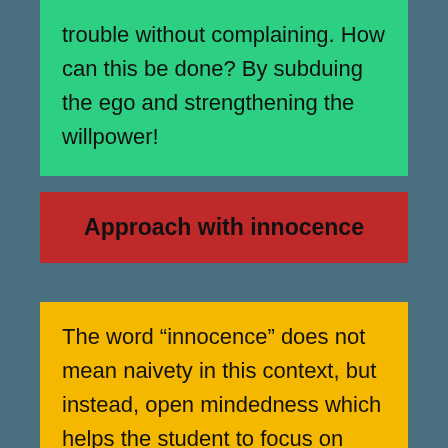trouble without complaining. How can this be done? By subduing the ego and strengthening the willpower!
Approach with innocence
The word “innocence” does not mean naivety in this context, but instead, open mindedness which helps the student to focus on reality.